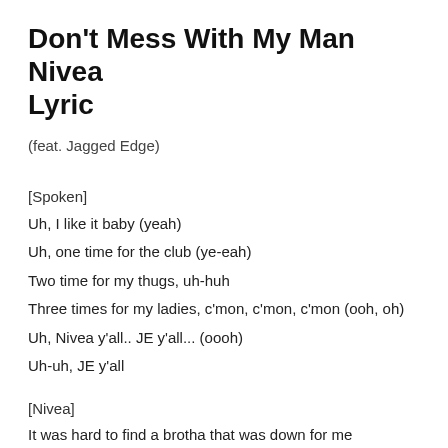Don't Mess With My Man Nivea Lyric
(feat. Jagged Edge)
[Spoken]
Uh, I like it baby (yeah)
Uh, one time for the club (ye-eah)
Two time for my thugs, uh-huh
Three times for my ladies, c'mon, c'mon, c'mon (ooh, oh)
Uh, Nivea y'all.. JE y'all... (oooh)
Uh-uh, JE y'all
[Nivea]
It was hard to find a brotha that was down for me
So I'm tellin everybody let him be
Cause he's mine and I can't take no pigeons tryna take my baby
So I thought I had to let you know
Girl, you see that man you call...